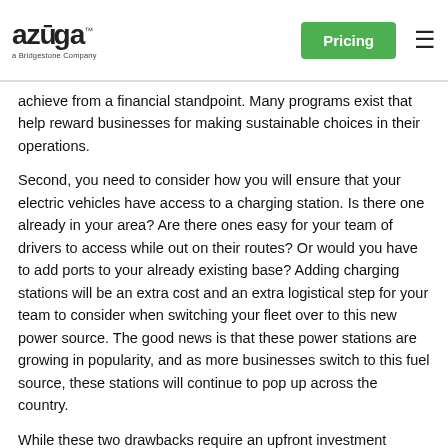azuga a Bridgestone Company | Pricing
achieve from a financial standpoint. Many programs exist that help reward businesses for making sustainable choices in their operations.
Second, you need to consider how you will ensure that your electric vehicles have access to a charging station. Is there one already in your area? Are there ones easy for your team of drivers to access while out on their routes? Or would you have to add ports to your already existing base? Adding charging stations will be an extra cost and an extra logistical step for your team to consider when switching your fleet over to this new power source. The good news is that these power stations are growing in popularity, and as more businesses switch to this fuel source, these stations will continue to pop up across the country.
While these two drawbacks require an upfront investment